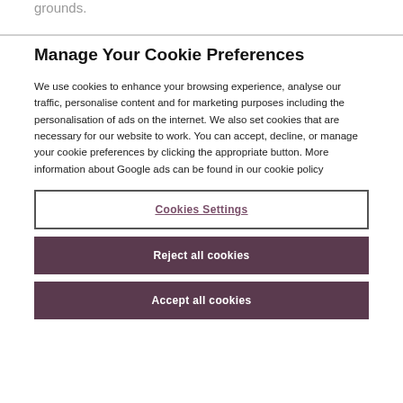grounds.
Manage Your Cookie Preferences
We use cookies to enhance your browsing experience, analyse our traffic, personalise content and for marketing purposes including the personalisation of ads on the internet. We also set cookies that are necessary for our website to work. You can accept, decline, or manage your cookie preferences by clicking the appropriate button. More information about Google ads can be found in our cookie policy
Cookies Settings
Reject all cookies
Accept all cookies